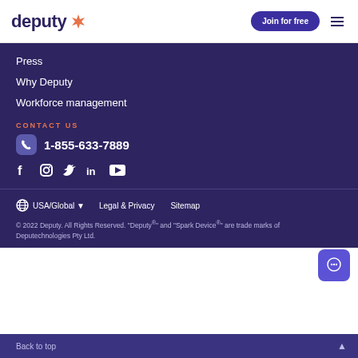deputy [logo] | Join for free | [menu]
Press
Why Deputy
Workforce management
CONTACT US
1-855-633-7889
[Figure (other): Social media icons: Facebook, Instagram, Twitter, LinkedIn, YouTube]
USA/Global ▼   Legal & Privacy   Sitemap
© 2022 Deputy. All Rights Reserved. "Deputy" and "Spark Device" are trade marks of Deputechnologies Pty Ltd.
Back to top